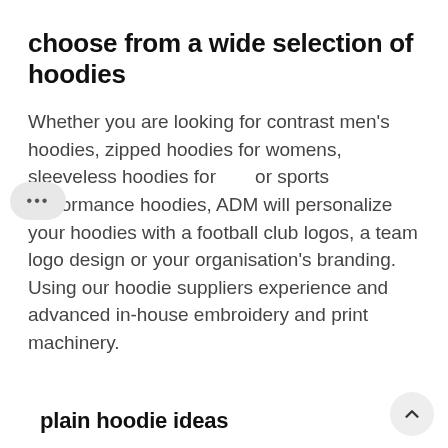choose from a wide selection of hoodies
Whether you are looking for contrast men's hoodies, zipped hoodies for womens, sleeveless hoodies for ... or sports performance hoodies, ADM will personalize your hoodies with a football club logos, a team logo design or your organisation's branding. Using our hoodie suppliers experience and advanced in-house embroidery and print machinery.
plain hoodie ideas
Plain hooded tops these days are available in a wide spectrum of colours, including black plain